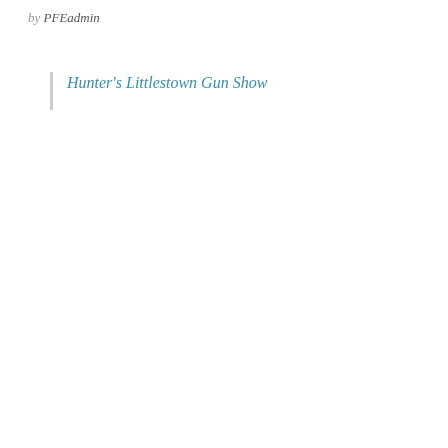by PFEadmin
Hunter's Littlestown Gun Show